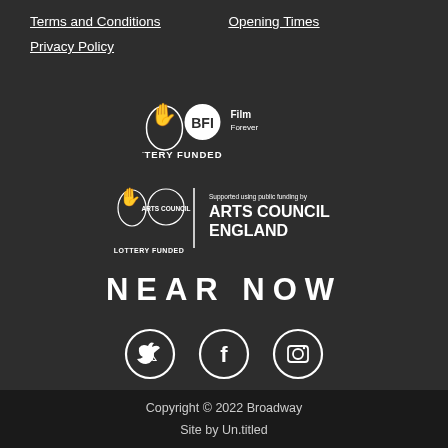Terms and Conditions   Opening Times
Privacy Policy
[Figure (logo): BFI Film Forever Lottery Funded logo — white on dark background]
[Figure (logo): Arts Council England Lottery Funded logo — white on dark background]
NEAR NOW
[Figure (illustration): Three social media icons in circles: Twitter (bird), Facebook (f), Instagram (camera)]
Copyright © 2022 Broadway
Site by Un.titled